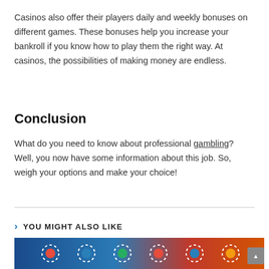Casinos also offer their players daily and weekly bonuses on different games. These bonuses help you increase your bankroll if you know how to play them the right way. At casinos, the possibilities of making money are endless.
Conclusion
What do you need to know about professional gambling? Well, you now have some information about this job. So, weigh your options and make your choice!
YOU MIGHT ALSO LIKE
[Figure (photo): Bottom portion of a photo showing casino chips or gambling-related imagery with blue and red colors]